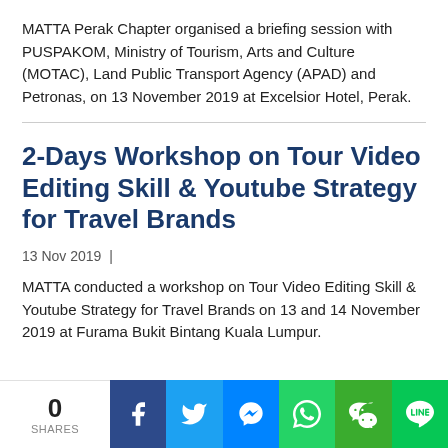MATTA Perak Chapter organised a briefing session with PUSPAKOM, Ministry of Tourism, Arts and Culture (MOTAC), Land Public Transport Agency (APAD) and Petronas, on 13 November 2019 at Excelsior Hotel, Perak.
2-Days Workshop on Tour Video Editing Skill & Youtube Strategy for Travel Brands
13 Nov 2019 |
MATTA conducted a workshop on Tour Video Editing Skill & Youtube Strategy for Travel Brands on 13 and 14 November 2019 at Furama Bukit Bintang Kuala Lumpur.
[Figure (infographic): Social sharing bar with 0 shares, and icons for Facebook, Twitter, Messenger, WhatsApp, WeChat, and LINE.]